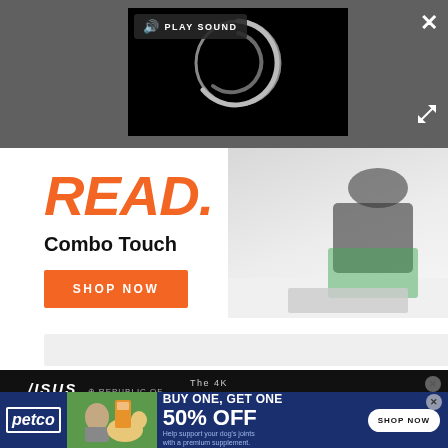[Figure (screenshot): Video player overlay on dark grey background with PLAY SOUND button, loading spinner, close X button, and expand arrows button]
[Figure (screenshot): Logitech Combo Touch advertisement: orange READ. text, Combo Touch product name, orange SHOP NOW button, person with tablet image, logitech logo]
[Figure (screenshot): ASUS Republic of Gamers banner ad: The 4K ENDGAME text, GAMING MONITOR text, dark background]
[Figure (screenshot): Petco advertisement: Buy one get one 50% OFF, Shop Now button, dog and person image, dark blue background]